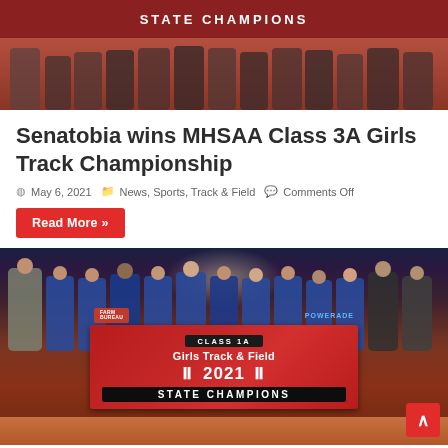[Figure (photo): Team photo of girls track and field team posing in front of a STATE CHAMPIONS banner on a reddish track, top portion cropped]
Senatobia wins MHSAA Class 3A Girls Track Championship
May 6, 2021   News, Sports, Track & Field   Comments Off
Read More »
[Figure (photo): Girls track and field team posing at night holding a CLASS 1A Girls Track & Field 2021 STATE CHAMPIONS banner with Farm Bureau and Powerade logos]